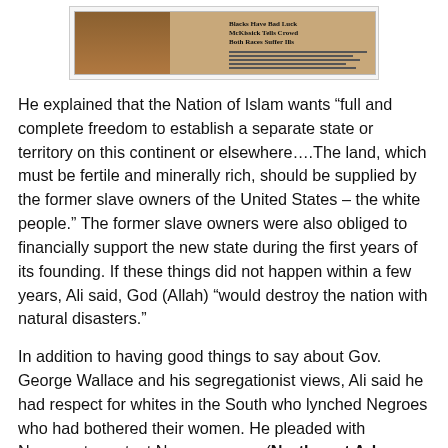[Figure (photo): Newspaper clipping image showing a person and text headlines including 'Blacks Have Bad Luck', 'McKissick Tells Crowd', 'Both Races Suffer Ills']
He explained that the Nation of Islam wants “full and complete freedom to establish a separate state or territory on this continent or elsewhere….The land, which must be fertile and minerally rich, should be supplied by the former slave owners of the United States – the white people.” The former slave owners were also obliged to financially support the new state during the first years of its founding. If these things did not happen within a few years, Ali said, God (Allah) “would destroy the nation with natural disasters.”
In addition to having good things to say about Gov. George Wallace and his segregationist views, Ali said he had respect for whites in the South who lynched Negroes who had bothered their women. He pleaded with Negroes to protect Negro women. (Northwest Arkansas Times, March 13, 1969, p. 1)
A Gazette editorial made this remark about Ali’s speech:
When the speaker was not advocating